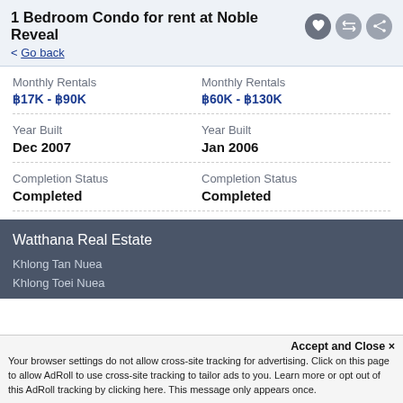1 Bedroom Condo for rent at Noble Reveal
< Go back
| Field | Left Value | Right Value |
| --- | --- | --- |
| Monthly Rentals | ฿17K - ฿90K | Monthly Rentals ฿60K - ฿130K |
| Year Built | Dec 2007 | Year Built Jan 2006 |
| Completion Status | Completed | Completion Status Completed |
Watthana Real Estate
Khlong Tan Nuea
Khlong Toei Nuea
Accept and Close ✕
Your browser settings do not allow cross-site tracking for advertising. Click on this page to allow AdRoll to use cross-site tracking to tailor ads to you. Learn more or opt out of this AdRoll tracking by clicking here. This message only appears once.